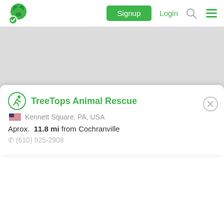Signup  Login
[Figure (map): Gray map background area]
TreeTops Animal Rescue
Kennett Square, PA, USA
Aprox.  11.8 mi from Cochranville
(610) 925-2908